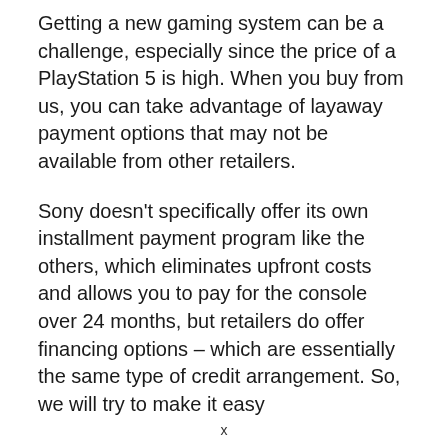Getting a new gaming system can be a challenge, especially since the price of a PlayStation 5 is high. When you buy from us, you can take advantage of layaway payment options that may not be available from other retailers.
Sony doesn't specifically offer its own installment payment program like the others, which eliminates upfront costs and allows you to pay for the console over 24 months, but retailers do offer financing options – which are essentially the same type of credit arrangement. So, we will try to make it easy
x